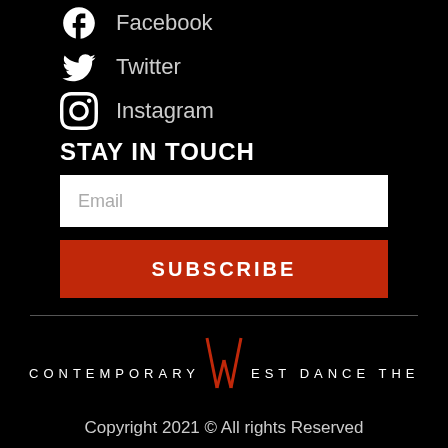Facebook
Twitter
Instagram
STAY IN TOUCH
Email
SUBSCRIBE
[Figure (logo): Contemporary West Dance Theatre logo with red stylized W and white spaced lettering]
Copyright 2021 © All rights Reserved